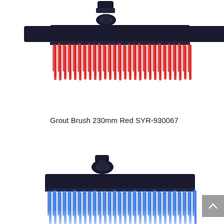[Figure (photo): Close-up product photo of a Grout Brush with a dark navy/black body and bright red bristles, showing the handle connector at top center and the brush head below it, photographed against a white background.]
Grout Brush 230mm Red SYR-930067
[Figure (photo): Close-up product photo of a Grout Brush with a dark navy/black body and blue bristles, showing the handle connector at top center and the brush head below partially cropped, photographed against a white background.]